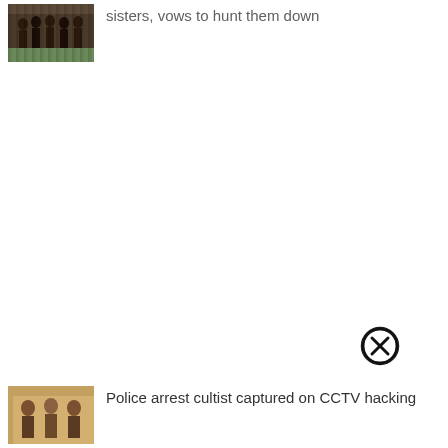[Figure (photo): Thumbnail image of people, appears to be a group outdoors]
sisters, vows to hunt them down
[Figure (other): Close button (X in circle) UI element]
[Figure (photo): Thumbnail image of people, appears to show men standing]
Police arrest cultist captured on CCTV hacking